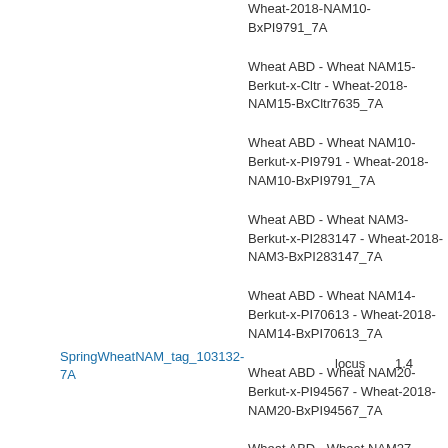SpringWheatNAM_tag_103132-7A
locus
1.4
Wheat ABD - Wheat NAM10-Berkut-x-PI9791 - Wheat-2018-NAM10-BxPI9791_7A
Wheat ABD - Wheat NAM15-Berkut-x-Cltr - Wheat-2018-NAM15-BxCltr7635_7A
Wheat ABD - Wheat NAM10-Berkut-x-PI9791 - Wheat-2018-NAM10-BxPI9791_7A
Wheat ABD - Wheat NAM3-Berkut-x-PI283147 - Wheat-2018-NAM3-BxPI283147_7A
Wheat ABD - Wheat NAM14-Berkut-x-PI70613 - Wheat-2018-NAM14-BxPI70613_7A
Wheat ABD - Wheat NAM20-Berkut-x-PI94567 - Wheat-2018-NAM20-BxPI94567_7A
Wheat ABD - Wheat NAM27-Berkut-x-PI192569 - Wheat-2018-NAM27-BxPI192569